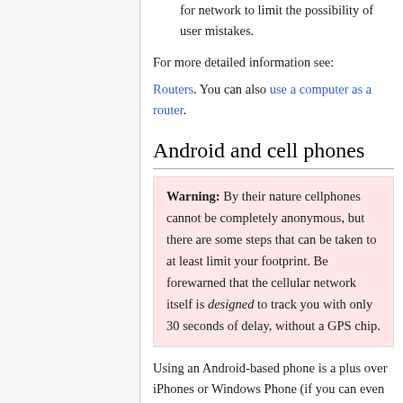for network to limit the possibility of user mistakes.
For more detailed information see: Routers. You can also use a computer as a router.
Android and cell phones
Warning: By their nature cellphones cannot be completely anonymous, but there are some steps that can be taken to at least limit your footprint. Be forewarned that the cellular network itself is designed to track you with only 30 seconds of delay, without a GPS chip.
Using an Android-based phone is a plus over iPhones or Windows Phone (if you can even call it that), but it is highly recommended that you avoid using cell